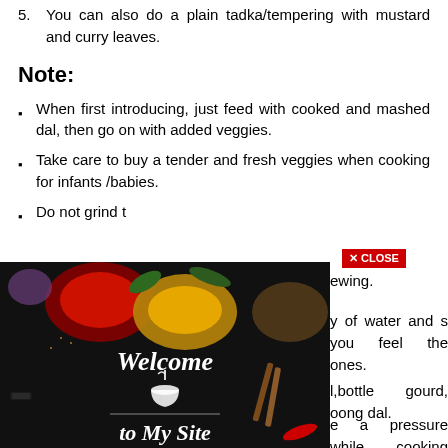5. You can also do a plain tadka/tempering with mustard and curry leaves.
Note:
When first introducing, just feed with cooked and mashed dal, then go on with added veggies.
Take care to buy a tender and fresh veggies when cooking for infants /babies.
Do not grind the veggies all the time when feeding as …ewing.
…y of water and …s you feel the ones.
…l,bottle gourd, …oong dal.
…e a pressure …while cooking …sam. (This is
[Figure (photo): Welcome to My Site spice/food background image with various colorful spices in wooden bowls, herbs, and a mortar and pestle graphic with script text 'Welcome to My Site']